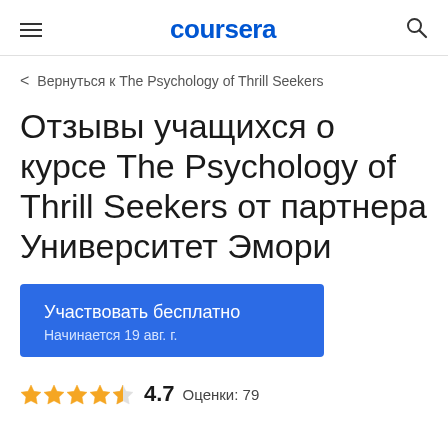coursera
< Вернуться к The Psychology of Thrill Seekers
Отзывы учащихся о курсе The Psychology of Thrill Seekers от партнера Университет Эмори
Участвовать бесплатно
Начинается 19 авг. г.
4.7   Оценки: 79